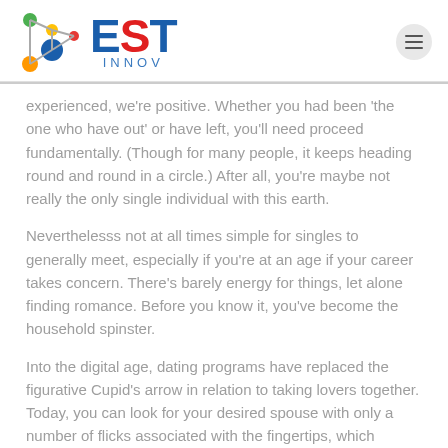[Figure (logo): EST INNOV logo with colorful molecule/network graphic on the left and EST in red/blue bold letters with INNOV below in blue]
experienced, we're positive. Whether you had been 'the one who have out' or have left, you'll need proceed fundamentally. (Though for many people, it keeps heading round and round in a circle.) After all, you're maybe not really the only single individual with this earth.
Neverthelesss not at all times simple for singles to generally meet, especially if you're at an age if your career takes concern. There's barely energy for things, let alone finding romance. Before you know it, you've become the household spinster.
Into the digital age, dating programs have replaced the figurative Cupid's arrow in relation to taking lovers together. Today, you can look for your desired spouse with only a number of flicks associated with the fingertips, which makes appointment right up much straightforward.